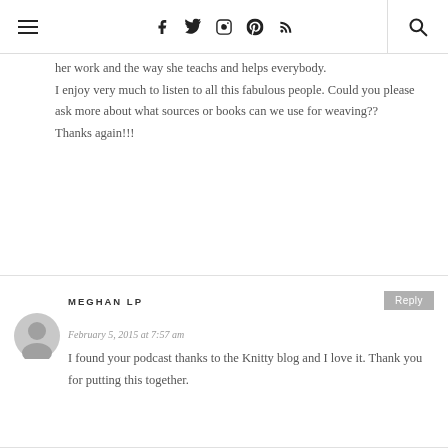navigation header with hamburger menu, social icons (Facebook, Twitter, Instagram, Pinterest, RSS), and search
her work and the way she teachs and helps everybody.
I enjoy very much to listen to all this fabulous people. Could you please ask more about what sources or books can we use for weaving??
Thanks again!!!
MEGHAN LP
February 5, 2015 at 7:57 am
I found your podcast thanks to the Knitty blog and I love it. Thank you for putting this together.